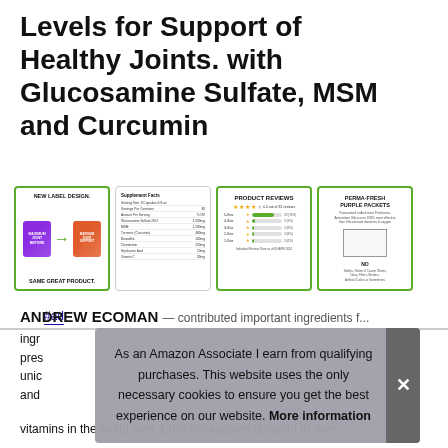Levels for Support of Healthy Joints. with Glucosamine Sulfate, MSM and Curcumin
#ad
[Figure (photo): Four product thumbnail images showing: 1) New label design vs same great product comparison with purple supplement cans; 2) Supplement facts nutrition label; 3) Product reviews with star ratings showing 4.4 out of 31 reviews, with bar chart breakdown (5 Star 23 74%, 4 Star 5 9%, 3 Star 2 6%, 2 Star 2 6%, 1 Star 2 6%); 4) Perma-Fresh Purple Packets information panel]
ANDREW ECOMAN ...
ingr... pres... unic... and...
vitamins in the world over 1 billion capsules donated to date
As an Amazon Associate I earn from qualifying purchases. This website uses the only necessary cookies to ensure you get the best experience on our website. More information